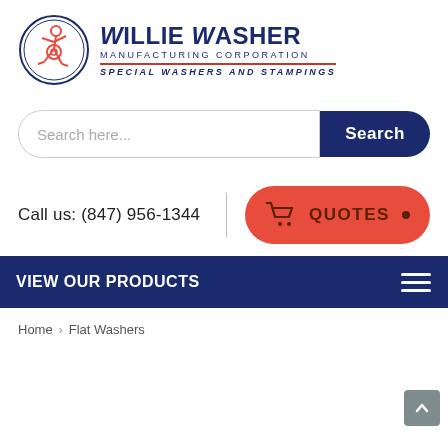[Figure (logo): Willie Washer Manufacturing Corporation logo with circular mascot figure and company name]
Search here...
Search
Call us: (847) 956-1344
QUOTES
VIEW OUR PRODUCTS
Home  ›  Flat Washers